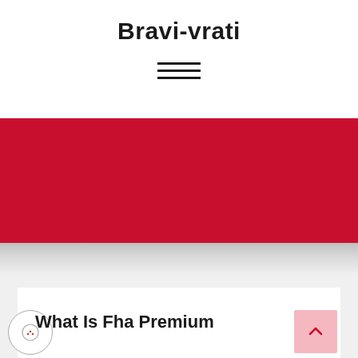Bravi-vrati
[Figure (other): Hamburger menu icon with three horizontal lines]
[Figure (other): Large solid red rectangular banner/hero image area]
What Is Fha Premium